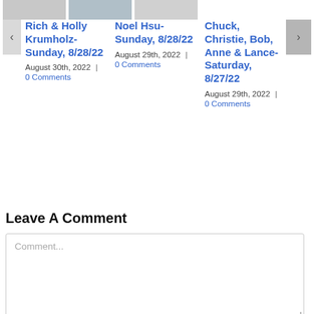[Figure (photo): Partial image strip at the top of the page showing three cropped photos side by side]
Rich & Holly Krumholz- Sunday, 8/28/22
August 30th, 2022  |  0 Comments
Noel Hsu- Sunday, 8/28/22
August 29th, 2022  |  0 Comments
Chuck, Christie, Bob, Anne & Lance- Saturday, 8/27/22
August 29th, 2022  |  0 Comments
Leave A Comment
Comment...